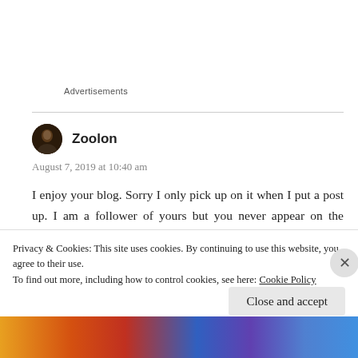Advertisements
Zoolon
August 7, 2019 at 10:40 am
I enjoy your blog. Sorry I only pick up on it when I put a post up. I am a follower of yours but you never appear on the Reader. I seem to have a few issues like this. WP need to get their act together – I'm paying them enough! Anyway, I
Privacy & Cookies: This site uses cookies. By continuing to use this website, you agree to their use.
To find out more, including how to control cookies, see here: Cookie Policy
Close and accept